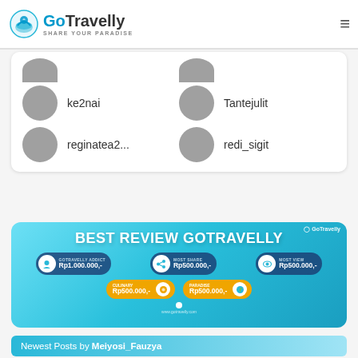GoTravelly - SHARE YOUR PARADISE
[Figure (screenshot): User list card showing avatar circles with usernames: ke2nai, Tantejulit, reginatea2..., redi_sigit]
[Figure (infographic): Best Review GoTravelly banner with prizes: Gotravelly Addict Rp1.000.000,-, Most Share Rp500.000,-, Most View Rp500.000,-, Culinary Rp500.000,-, Paradise Rp500.000,-]
Newest Posts by Meiyosi_Fauzya